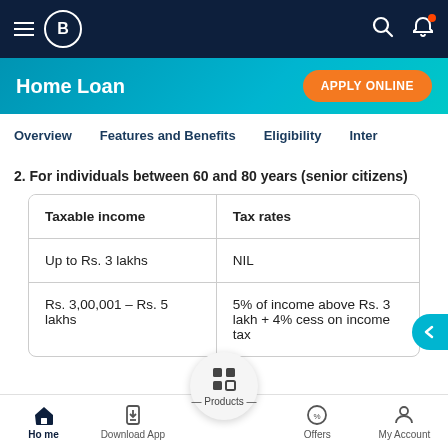Home Loan — Apply Online
Overview | Features and Benefits | Eligibility | Inter...
2. For individuals between 60 and 80 years (senior citizens)
| Taxable income | Tax rates |
| --- | --- |
| Up to Rs. 3 lakhs | NIL |
| Rs. 3,00,001 – Rs. 5 lakhs | 5% of income above Rs. 3 lakh + 4% cess on income tax |
Home | Download App | Products | Offers | My Account